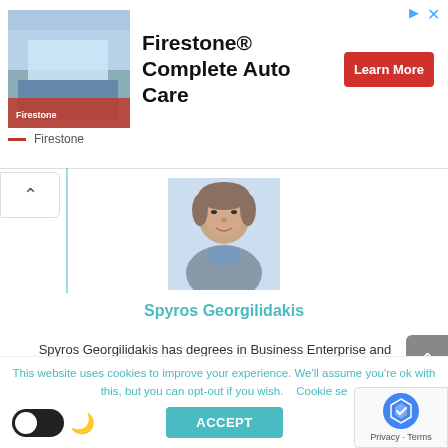[Figure (photo): Firestone Complete Auto Care advertisement banner with store photo, bold title text, and red Learn More button]
[Figure (photo): Headshot photo of Spyros Georgilidakis, a man in a gray shirt, against a light blue background]
Spyros Georgilidakis
Spyros Georgilidakis has degrees in Business Enterprise and Management. He has 14 years of experience in the hospitality and travel industries, along with a passion for all-things-aviation and travel logistics. He is also an experienced
This website uses cookies to improve your experience. We'll assume you're ok with this, but you can opt-out if you wish.    Cookie se
ACCEPT